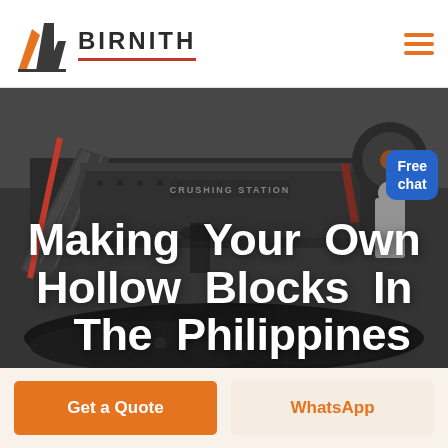BIRNITH
[Figure (screenshot): Industrial crushing station machinery with conveyor belts, large equipment and coal/rock material being processed, shown in desaturated/dark tones. A customer service representative figure appears in the upper right corner next to a 'Free chat' badge.]
Making Your Own Hollow Blocks In The Philippines
Get a Quote
WhatsApp